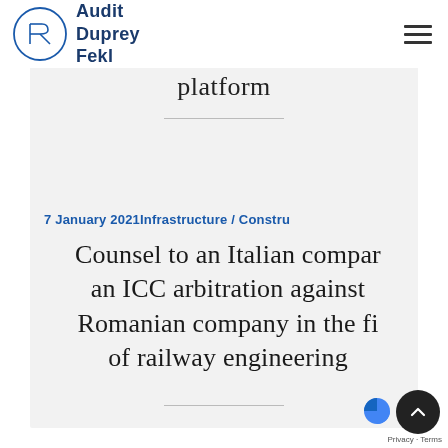Audit Duprey Fekl
platform
7 January 2021Infrastructure / Constru
Counsel to an Italian company an ICC arbitration against Romanian company in the field of railway engineering